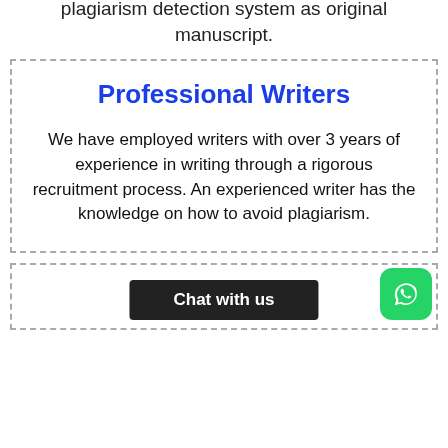plagiarism detection system as original manuscript.
Professional Writers
We have employed writers with over 3 years of experience in writing through a rigorous recruitment process. An experienced writer has the knowledge on how to avoid plagiarism.
Pl... ...rs